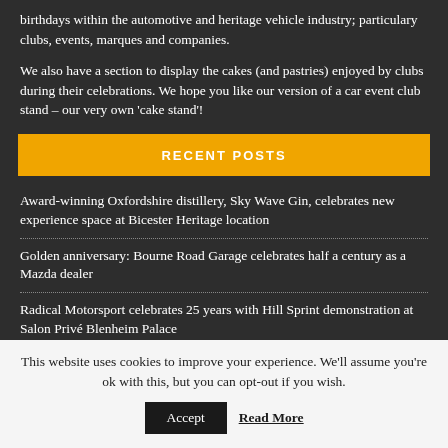birthdays within the automotive and heritage vehicle industry; particulary clubs, events, marques and companies.
We also have a section to display the cakes (and pastries) enjoyed by clubs during their celebrations. We hope you like our version of a car event club stand – our very own 'cake stand'!
RECENT POSTS
Award-winning Oxfordshire distillery, Sky Wave Gin, celebrates new experience space at Bicester Heritage location
Golden anniversary: Bourne Road Garage celebrates half a century as a Mazda dealer
Radical Motorsport celebrates 25 years with Hill Sprint demonstration at Salon Privé Blenheim Palace
This website uses cookies to improve your experience. We'll assume you're ok with this, but you can opt-out if you wish.
Accept | Read More